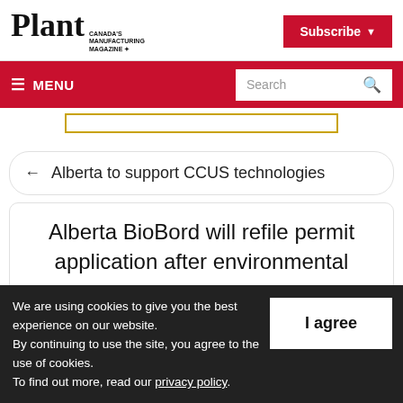Plant — Canada's Manufacturing Magazine
← Alberta to support CCUS technologies
Alberta BioBord will refile permit application after environmental survey:
We are using cookies to give you the best experience on our website. By continuing to use the site, you agree to the use of cookies. To find out more, read our privacy policy.